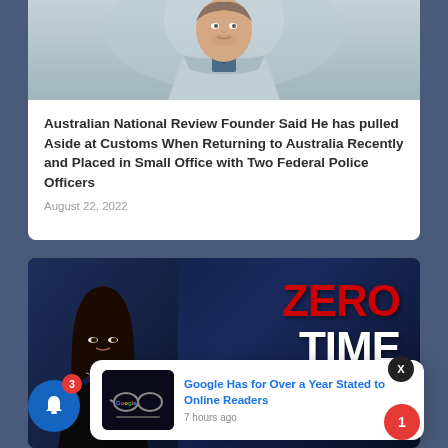[Figure (photo): Photo of a man in a light grey blazer, partial upper body shot cropped at top of page]
Australian National Review Founder Said He has pulled Aside at Customs When Returning to Australia Recently and Placed in Small Office with Two Federal Police Officers
August 22, 2022
[Figure (photo): ZERO TIME with Maria Zeee show banner — dark blue background with woman on left and red/white bold text reading ZERO TIME WITH MARIA ZEEE]
Google Has for Over a Year Stated to Online Readers
7 hours ago